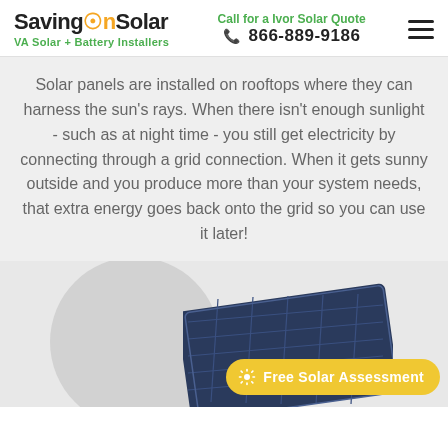SavingOnSolar — VA Solar + Battery Installers | Call for a Ivor Solar Quote 866-889-9186
Solar panels are installed on rooftops where they can harness the sun's rays. When there isn't enough sunlight - such as at night time - you still get electricity by connecting through a grid connection. When it gets sunny outside and you produce more than your system needs, that extra energy goes back onto the grid so you can use it later!
[Figure (photo): Solar panel photograph partially visible at the bottom of the page, with a decorative grey circle in the background. A yellow 'Free Solar Assessment' button with a gear icon overlays the bottom right.]